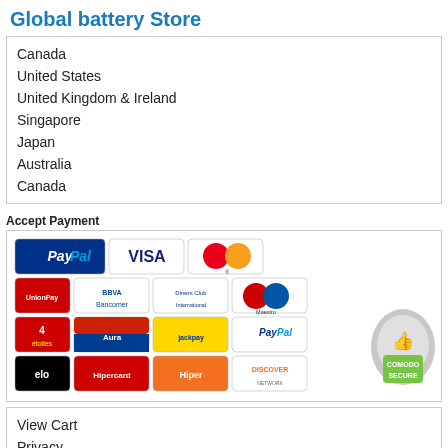Global battery Store
Canada
United States
United Kingdom & Ireland
Singapore
Japan
Australia
Canada
Accept Payment
[Figure (infographic): Payment method logos including PayPal, Visa, MasterCard, UnionPay, BBVA Bancomer, Diners Club, Maestro, 4 etoiles, Aura, JackPay, Elo, Hipercard, Hiper, Discover, Visa Electron, Cabal, Aurora, Cofinoga, Aurora, CB, American Express, JCB, Elo, and Comodo Secure badge]
View Cart
Privacy